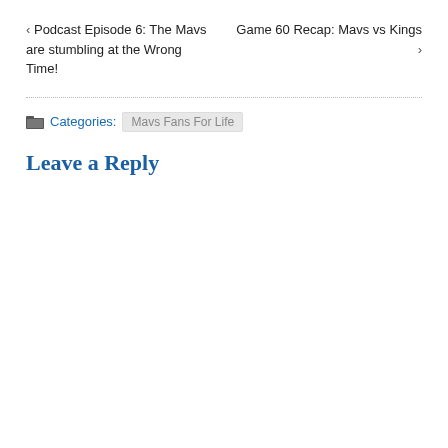‹ Podcast Episode 6: The Mavs are stumbling at the Wrong Time!
Game 60 Recap: Mavs vs Kings ›
Categories: Mavs Fans For Life
Leave a Reply